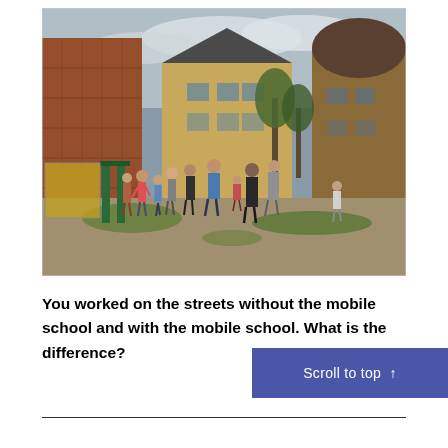[Figure (photo): Outdoor scene showing a group of children and adults gathered in a courtyard between old brick and timber-frame buildings. The setting appears to be a run-down urban area, with people standing on dirt ground surrounded by grass patches. Some children are near playground equipment on the left.]
You worked on the streets without the mobile school and with the mobile school. What is the difference?